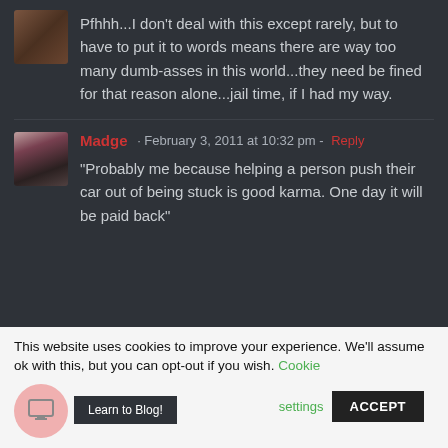Pfhhh...I don't deal with this except rarely, but to have to put it to words means there are way too many dumb-asses in this world...they need be fined for that reason alone...jail time, if I had my way.
Madge · February 3, 2011 at 10:32 pm - Reply
“Probably me because helping a person push their car out of being stuck is good karma. One day it will be paid back”
This website uses cookies to improve your experience. We'll assume ok with this, but you can opt-out if you wish. Cookie settings ACCEPT